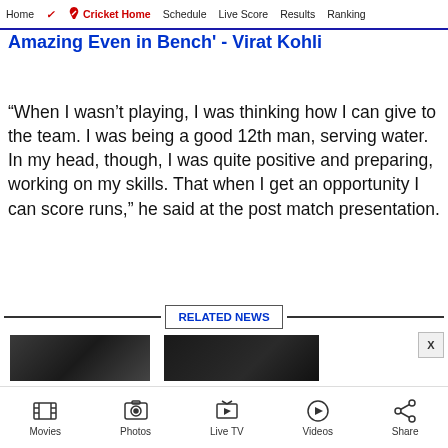Home | Cricket Home | Schedule | Live Score | Results | Ranking
Amazing Even in Bench' - Virat Kohli
“When I wasn’t playing, I was thinking how I can give to the team. I was being a good 12th man, serving water. In my head, though, I was quite positive and preparing, working on my skills. That when I get an opportunity I can score runs,” he said at the post match presentation.
RELATED NEWS
[Figure (photo): Two thumbnail images for related news articles]
Movies | Photos | Live TV | Videos | Share